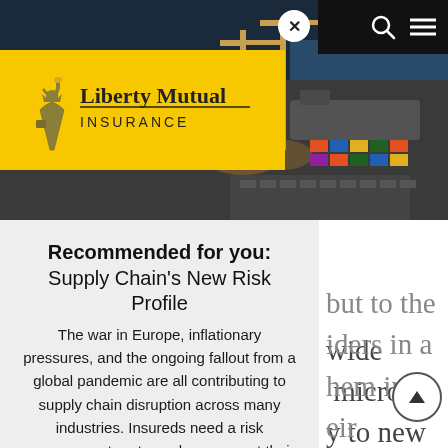[Figure (photo): Aerial view of a shipping port with colorful cargo containers and cranes, along with the Liberty Mutual Insurance logo on a yellow background in the upper-left area.]
Recommended for you: Supply Chain's New Risk Profile
The war in Europe, inflationary pressures, and the ongoing fallout from a global pandemic are all contributing to supply chain disruption across many industries. Insureds need a risk management partner who can meet their needs as a consultant, in addition to providing tailor-made coverage.